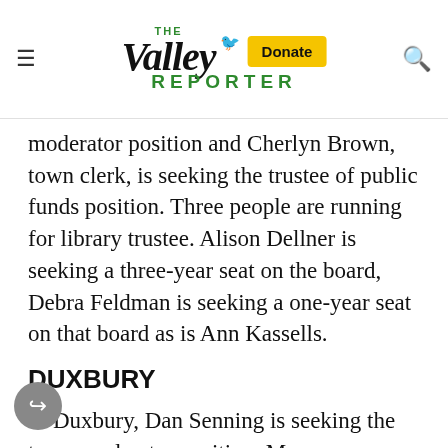The Valley Reporter
moderator position and Cherlyn Brown, town clerk, is seeking the trustee of public funds position. Three people are running for library trustee. Alison Dellner is seeking a three-year seat on the board, Debra Feldman is seeking a one-year seat on that board as is Ann Kassells.
DUXBURY
In Duxbury, Dan Senning is seeking the town moderator position. Maureen Harvey is seeking reelection as the town clerk and treasurer. Craig b, Jamie Irving, Mari Pratt and Mike Marotto are seeking reelection to one-year terms on the select